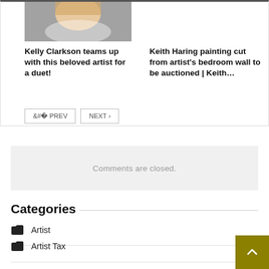[Figure (photo): Photo of Kelly Clarkson smiling, partially cropped at top]
Kelly Clarkson teams up with this beloved artist for a duet!
Keith Haring painting cut from artist's bedroom wall to be auctioned | Keith…
< PREV   NEXT >
Comments are closed.
Categories
Artist
Artist Tax